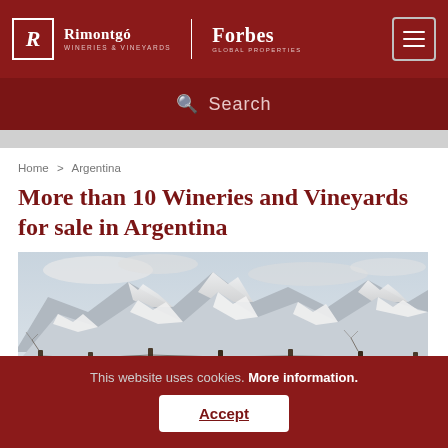[Figure (logo): Rimontgó Wineries & Vineyards | Forbes Global Properties logo with hamburger menu button on dark red header]
Search
Home > Argentina
More than 10 Wineries and Vineyards for sale in Argentina
[Figure (photo): Snow-covered mountain range with bare vineyard fence posts in the foreground, Argentina landscape]
This website uses cookies. More information.
Accept